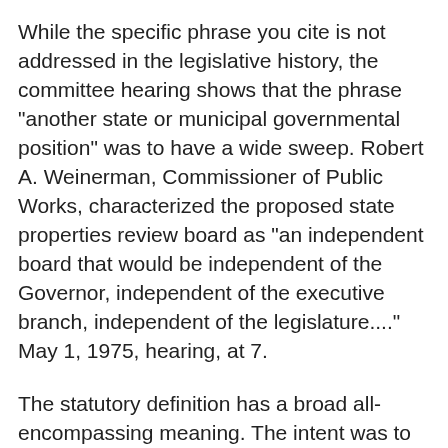While the specific phrase you cite is not addressed in the legislative history, the committee hearing shows that the phrase "another state or municipal governmental position" was to have a wide sweep. Robert A. Weinerman, Commissioner of Public Works, characterized the proposed state properties review board as "an independent board that would be independent of the Governor, independent of the executive branch, independent of the legislature...." May 1, 1975, hearing, at 7.
The statutory definition has a broad all-encompassing meaning. The intent was to create an independent "watch dog" agency which would have no possible conflicts of interest, to insure clean and honest transactions in real property by the State of Connecticut.